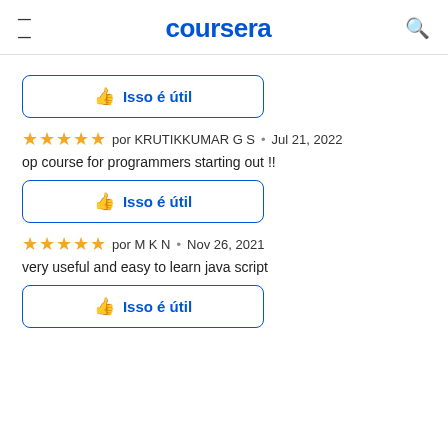coursera
[Figure (other): Isso é útil button with thumbs up icon, blue border]
★★★★★ por KRUTIKKUMAR G S • Jul 21, 2022
op course for programmers starting out !!
[Figure (other): Isso é útil button with thumbs up icon, blue border]
★★★★★ por M K N • Nov 26, 2021
very useful and easy to learn java script
[Figure (other): Isso é útil button with thumbs up icon, blue border]